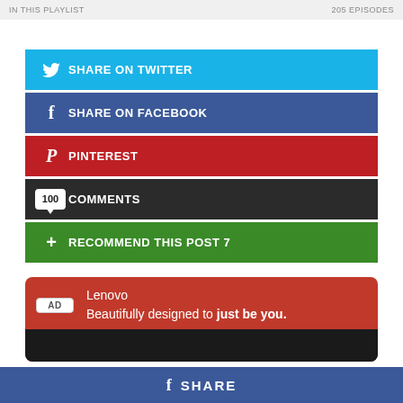IN THIS PLAYLIST    205 EPISODES
SHARE ON TWITTER
SHARE ON FACEBOOK
PINTEREST
100 COMMENTS
RECOMMEND THIS POST 7
[Figure (infographic): Lenovo advertisement banner: red background with AD badge, text 'Lenovo Beautifully designed to just be you.' followed by a black bar]
Lenovo
Beautifully designed to just be you.
f SHARE